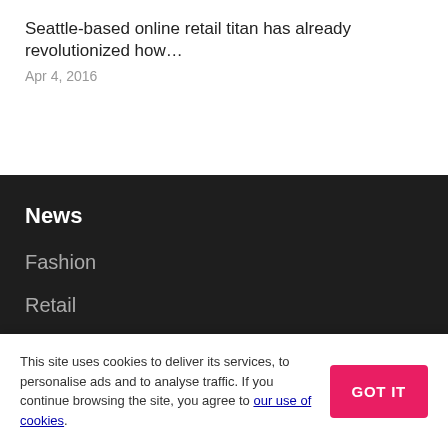Seattle-based online retail titan has already revolutionized how…
Apr 4, 2016
News
Fashion
Retail
This site uses cookies to deliver its services, to personalise ads and to analyse traffic. If you continue browsing the site, you agree to our use of cookies.
GOT IT